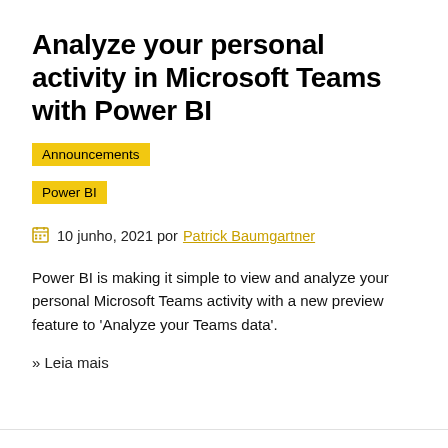Analyze your personal activity in Microsoft Teams with Power BI
Announcements
Power BI
10 junho, 2021 por Patrick Baumgartner
Power BI is making it simple to view and analyze your personal Microsoft Teams activity with a new preview feature to ‘Analyze your Teams data’.
» Leia mais